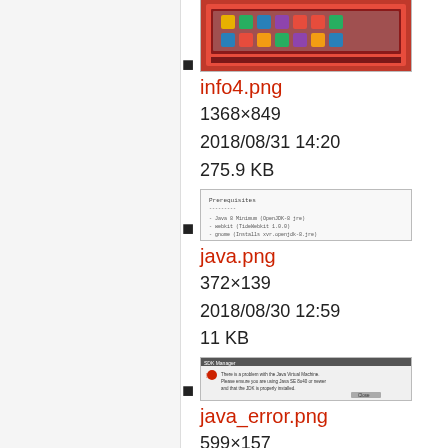[Figure (screenshot): Thumbnail screenshot of Ubuntu desktop with app icons (info4.png preview)]
info4.png
1368×849
2018/08/31 14:20
275.9 KB
[Figure (screenshot): Thumbnail screenshot of java prerequisite text (java.png preview)]
java.png
372×139
2018/08/30 12:59
11 KB
[Figure (screenshot): Thumbnail screenshot of java error dialog (java_error.png preview)]
java_error.png
599×157
2018/08/30 14:00
20.2 KB
[Figure (screenshot): Thumbnail screenshot of a configuration/installation page (partial, bottom of page)]